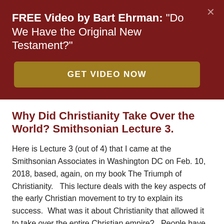FREE Video by Bart Ehrman: "Do We Have the Original New Testament?"
GET VIDEO NOW
Why Did Christianity Take Over the World? Smithsonian Lecture 3.
Here is Lecture 3 (out of 4) that I came at the Smithsonian Associates in Washington DC on Feb. 10, 2018, based, again, on my book The Triumph of Christianity.   This lecture deals with the key aspects of the early Christian movement to try to explain its success.  What was it about Christianity that allowed it to take over the entire Christian empire?   People have all sorts of "common sense" answers to the question -- as did I for many years, even as a professional scholar -